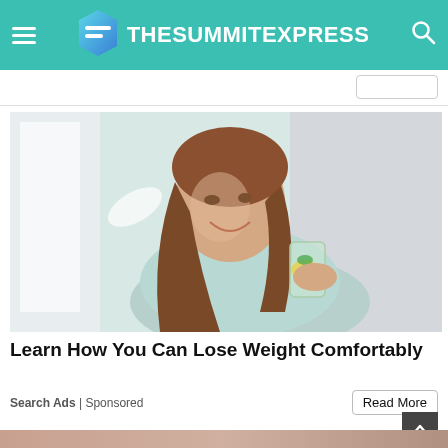TheSummitExpress
[Figure (photo): Smiling young woman with long brown hair holding a glass of water with lemon and mint, wearing a light blue top, bright background]
Learn How You Can Lose Weight Comfortably
Search Ads | Sponsored
Read More